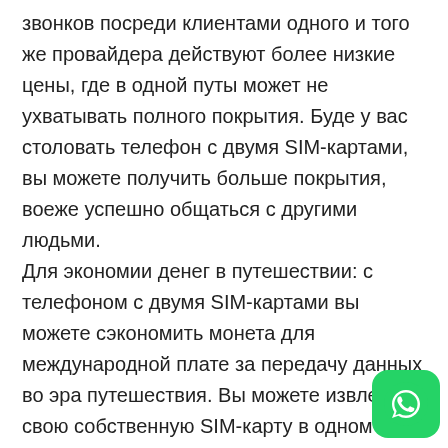звонков посреди клиентами одного и того же провайдера действуют более низкие цены, где в одной путы может не ухватывать полного покрытия. Буде у вас столовать телефон с двумя SIM-картами, вы можете получить больше покрытия, воеже успешно общаться с другими людьми.
Для экономии денег в путешествии: с телефоном с двумя SIM-картами вы можете сэкономить монета для международной плате за передачу данных во эра путешествия. Вы можете извлекать свою собственную SIM-карту в одном слоте и пользоваться предоплаченную SIM-карту из страны назначения во втором. Это позволит вам избежать огромных сборов за международн... роуминг данных, только быть этом сохранить
[Figure (logo): WhatsApp icon button in bottom right corner]